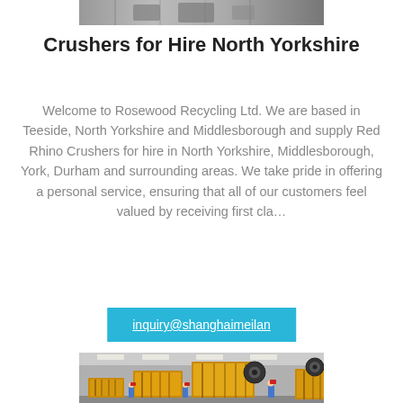[Figure (photo): Top portion of a photo showing industrial/mining equipment in a facility]
Crushers for Hire North Yorkshire
Welcome to Rosewood Recycling Ltd. We are based in Teeside, North Yorkshire and Middlesborough and supply Red Rhino Crushers for hire in North Yorkshire, Middlesborough, York, Durham and surrounding areas. We take pride in offering a personal service, ensuring that all of our customers feel valued by receiving first cla…
inquiry@shanghaimeilan
[Figure (photo): Photo of large yellow jaw crushers lined up in an industrial warehouse, with workers in blue uniforms and hard hats standing nearby]